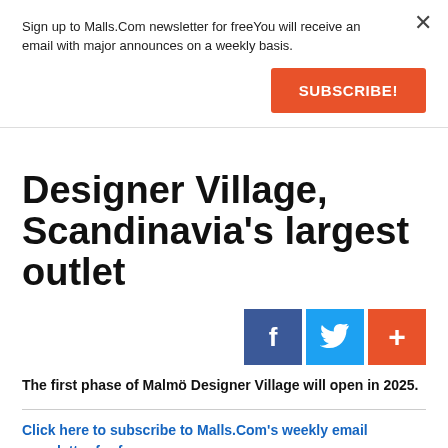Sign up to Malls.Com newsletter for freeYou will receive an email with major announces on a weekly basis.
SUBSCRIBE!
Designer Village, Scandinavia's largest outlet
[Figure (other): Social sharing icons: Facebook (dark blue), Twitter (light blue), and a plus/add button (orange-red)]
The first phase of Malmö Designer Village will open in 2025.
Click here to subscribe to Malls.Com's weekly email newsletter for free